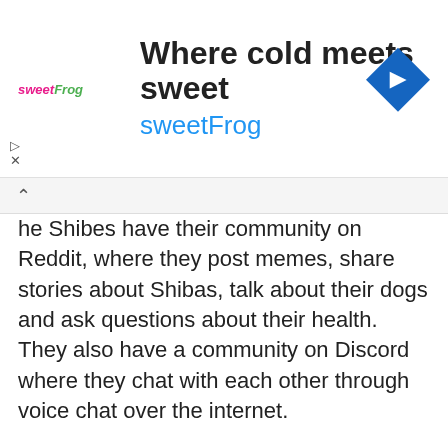[Figure (advertisement): sweetFrog advertisement banner with text 'Where cold meets sweet sweetFrog' and a blue diamond navigation icon on the right. SweetFrog logo with pink 'sweet' and green 'Frog' wordmark on the left.]
he Shibes have their community on Reddit, where they post memes, share stories about Shibas, talk about their dogs and ask questions about their health. They also have a community on Discord where they chat with each other through voice chat over the internet.
Advantages of Shiba Inu
Shiba Inus are a meme-inspired cryptocurrency. The SHIB token, named after the Shiba Inu, is a newer form of cryptocurrency that has become popular in recent years. As with many other cryptos in the